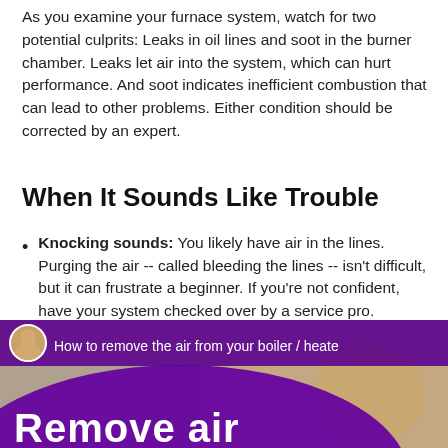As you examine your furnace system, watch for two potential culprits: Leaks in oil lines and soot in the burner chamber. Leaks let air into the system, which can hurt performance. And soot indicates inefficient combustion that can lead to other problems. Either condition should be corrected by an expert.
When It Sounds Like Trouble
Knocking sounds: You likely have air in the lines. Purging the air -- called bleeding the lines -- isn't difficult, but it can frustrate a beginner. If you're not confident, have your system checked over by a service pro.
[Figure (photo): Video thumbnail showing a man and text 'How to remove the air from your boiler / heater' with 'Remove air' in large white text on a purple background arc at the bottom.]